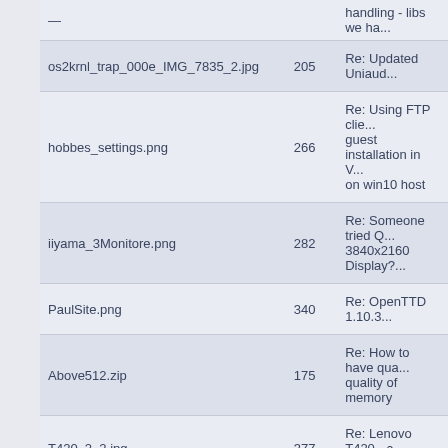| Filename | Size | Subject |
| --- | --- | --- |
| — |  | handling - libs we ha... |
| os2krnl_trap_000e_IMG_7835_2.jpg | 205 | Re: Updated Uniaud... |
| hobbes_settings.png | 266 | Re: Using FTP clie... guest installation in V... on win10 host |
| iiyama_3Monitore.png | 282 | Re: Someone tried Q... 3840x2160 Display?... |
| PaulSite.png | 340 | Re: OpenTTD 1.10.3... |
| Above512.zip | 175 | Re: How to have qua... quality of memory |
| T420_2_2.jpg | 377 | Re: Lenovo T420 - c... touchpad |
| T420_1_2.jpg | 392 | Re: Lenovo T420 - c... touchpad |
Pages: [1] 2 3
SMF 2.0.19 | SMF © 2021, Simple M...   XHTML   RSS   WAP2